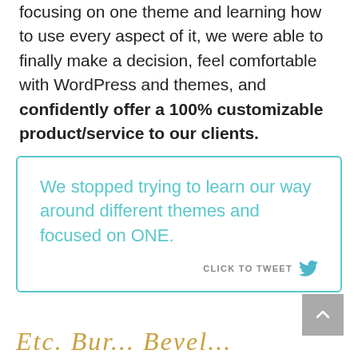focusing on one theme and learning how to use every aspect of it, we were able to finally make a decision, feel comfortable with WordPress and themes, and confidently offer a 100% customizable product/service to our clients.
We stopped trying to learn our way around different themes and focused on ONE. CLICK TO TWEET